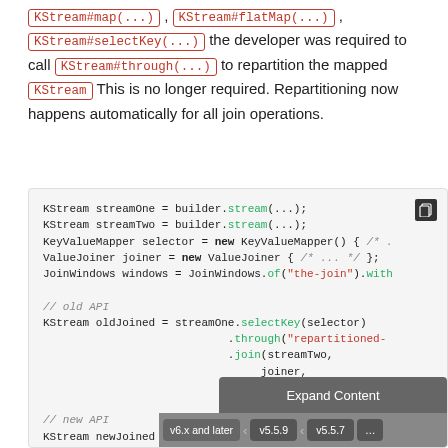KStream#map(...), KStream#flatMap(...), KStream#selectKey(...) the developer was required to call KStream#through(...) to repartition the mapped KStream. This is no longer required. Repartitioning now happens automatically for all join operations.
[Figure (screenshot): Code block showing old and new API usage for KStream join operations with selectKey, through, and join methods. Includes an Expand Content button and version selector buttons (v6.x and later, v5.5.9, v5.5.7, ...).]